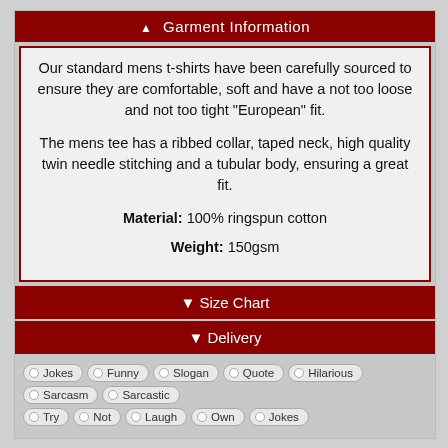▲ Garment Information
Our standard mens t-shirts have been carefully sourced to ensure they are comfortable, soft and have a not too loose and not too tight "European" fit.

The mens tee has a ribbed collar, taped neck, high quality twin needle stitching and a tubular body, ensuring a great fit.

Material: 100% ringspun cotton

Weight: 150gsm
▼ Size Chart
▼ Delivery
Jokes
Funny
Slogan
Quote
Hilarious
Sarcasm
Sarcastic
Try
Not
Laugh
Own
Jokes